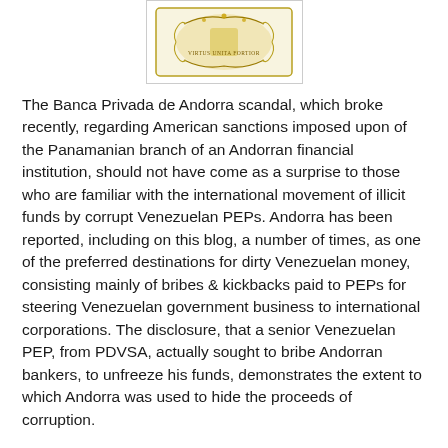[Figure (logo): Andorran coat of arms / seal with gold ornamental design and text 'VIRTUS UNITA FORTIOR' in a bordered box]
The Banca Privada de Andorra scandal, which broke recently, regarding American sanctions imposed upon of the Panamanian branch of an Andorran financial institution, should not have come as a surprise to those who are familiar with the international movement of illicit funds by corrupt Venezuelan PEPs. Andorra has been reported, including on this blog, a number of times, as one of the preferred destinations for dirty Venezuelan money, consisting mainly of bribes & kickbacks paid to PEPs for steering Venezuelan government business to international corporations. The disclosure, that a senior Venezuelan PEP, from PDVSA, actually sought to bribe Andorran bankers, to unfreeze his funds, demonstrates the extent to which Andorra was used to hide the proceeds of corruption.
Even David Murcia Guzmán, the DMG pyramid/Ponzi schemer, was known to have sent funds, through cooperating Panamanian banks, to Andorra, so media